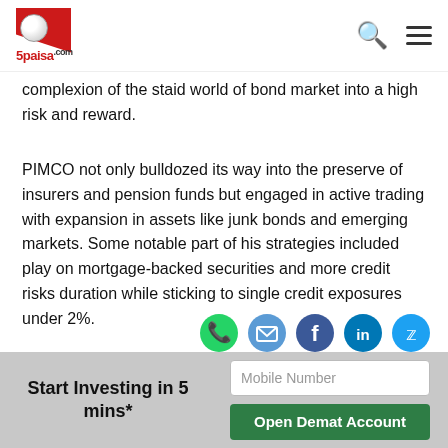5paisa.com
complexion of the staid world of bond market into a high risk and reward.
PIMCO not only bulldozed its way into the preserve of insurers and pension funds but engaged in active trading with expansion in assets like junk bonds and emerging markets. Some notable part of his strategies included play on mortgage-backed securities and more credit risks duration while sticking to single credit exposures under 2%.
[Figure (infographic): Social share icons row: WhatsApp (green), Email (blue), Facebook (dark blue), LinkedIn (blue), Twitter (light blue)]
[Figure (infographic): Banner with red decorative stripes on left and right, light blue mountain silhouette background, text overlay reading '3 reasons why should you invest using 5paisa.com']
Start Investing in 5 mins*
Mobile Number
Open Demat Account